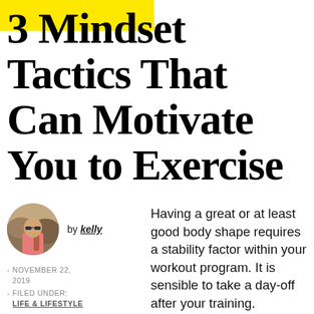3 Mindset Tactics That Can Motivate You to Exercise
[Figure (photo): Circular avatar photo of a person wearing sunglasses and a pink shirt with a backpack, outdoors against a rocky background]
by kelly
NOVEMBER 22, 2019
FILED UNDER: LIFE & LIFESTYLE
Having a great or at least good body shape requires a stability factor within your workout program. It is sensible to take a day-off after your training. Depending on your program,